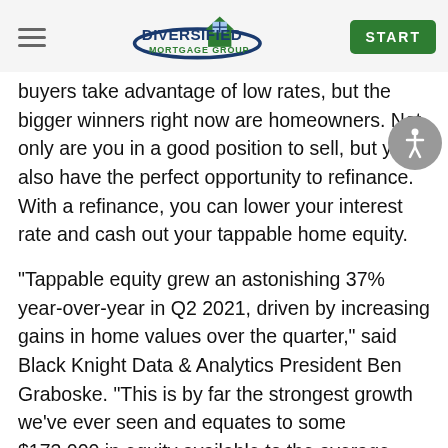Diversified Mortgage Group | START
buyers take advantage of low rates, but the bigger winners right now are homeowners. Not only are you in a good position to sell, but you also have the perfect opportunity to refinance. With a refinance, you can lower your interest rate and cash out your tappable home equity.
"Tappable equity grew an astonishing 37% year-over-year in Q2 2021, driven by increasing gains in home values over the quarter," said Black Knight Data & Analytics President Ben Graboske. "This is by far the strongest growth we've ever seen and equates to some $173,000 in equity available to the average mortgage holder."
The potential for your tappable equity is huge.